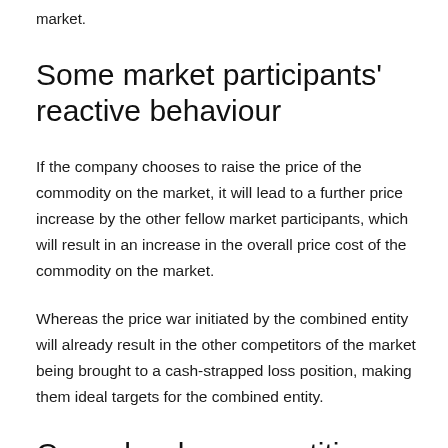market.
Some market participants' reactive behaviour
If the company chooses to raise the price of the commodity on the market, it will lead to a further price increase by the other fellow market participants, which will result in an increase in the overall price cost of the commodity on the market.
Whereas the price war initiated by the combined entity will already result in the other competitors of the market being brought to a cash-strapped loss position, making them ideal targets for the combined entity.
Cross-border competition-related